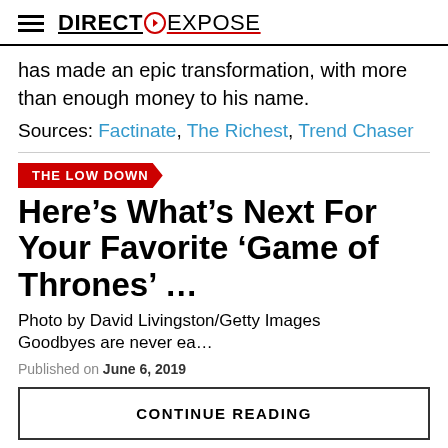DIRECT EXPOSE
has made an epic transformation, with more than enough money to his name.
Sources: Factinate, The Richest, Trend Chaser
[Figure (other): THE LOW DOWN badge/label in red with white text]
Here’s What’s Next For Your Favorite ‘Game of Thrones’ …
Photo by David Livingston/Getty Images
Goodbyes are never ea…
Published on June 6, 2019
CONTINUE READING